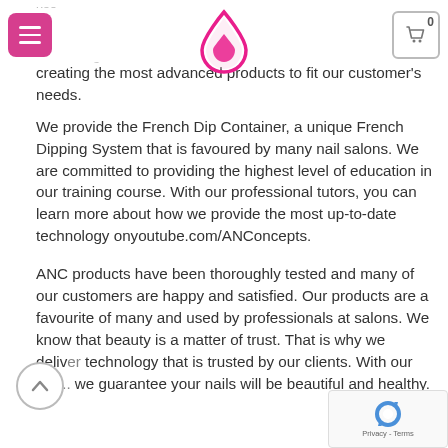use.
[Figure (logo): Pink water drop logo icon in center of header]
re working with a te...neers and manufactu... creating the most advanced products to fit our customer's needs.
We provide the French Dip Container, a unique French Dipping System that is favoured by many nail salons. We are committed to providing the highest level of education in our training course. With our professional tutors, you can learn more about how we provide the most up-to-date technology onyoutube.com/ANConcepts.
ANC products have been thoroughly tested and many of our customers are happy and satisfied. Our products are a favourite of many and used by professionals at salons. We know that beauty is a matter of trust. That is why we deliver technology that is trusted by our clients. With our pro... we guarantee your nails will be beautiful and healthy.